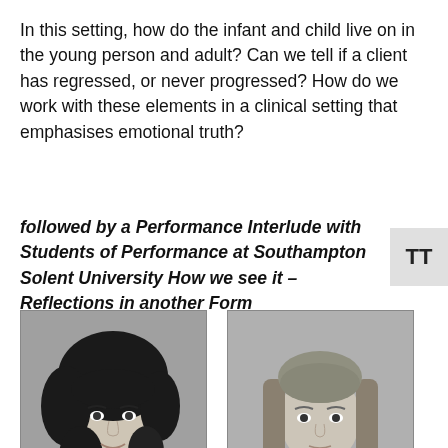In this setting, how do the infant and child live on in the young person and adult?  Can we tell if a client has regressed, or never progressed? How do we work with these elements in a clinical setting that emphasises emotional truth?
followed by a Performance Interlude with  Students of Performance at Southampton Solent University  How we see it – Reflections in another Form
[Figure (photo): Black and white headshot photograph of a young woman with long curly hair, smiling slightly, wearing a dark top.]
[Figure (photo): Black and white headshot photograph of a young woman with long straight hair, neutral expression, wearing a dark top.]